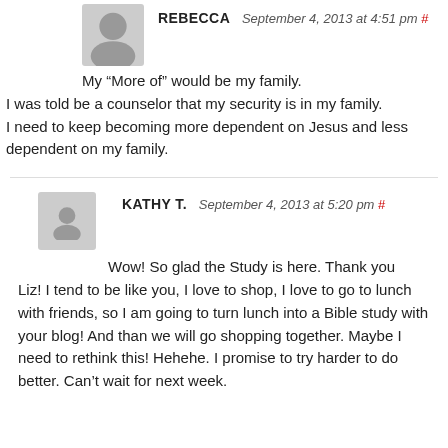REBECCA September 4, 2013 at 4:51 pm #
My “More of” would be my family.
I was told be a counselor that my security is in my family.
I need to keep becoming more dependent on Jesus and less dependent on my family.
KATHY T. September 4, 2013 at 5:20 pm #
Wow! So glad the Study is here. Thank you Liz! I tend to be like you, I love to shop, I love to go to lunch with friends, so I am going to turn lunch into a Bible study with your blog! And than we will go shopping together. Maybe I need to rethink this! Hehehe. I promise to try harder to do better. Can’t wait for next week.